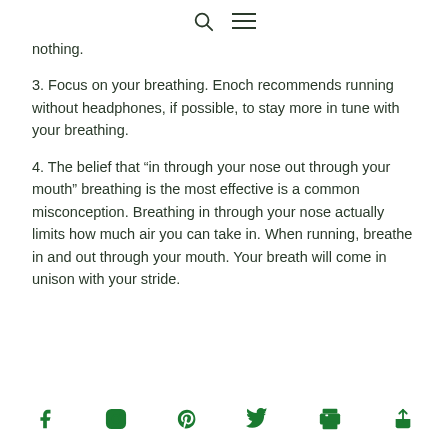[search icon] [menu icon]
nothing.
3. Focus on your breathing. Enoch recommends running without headphones, if possible, to stay more in tune with your breathing.
4. The belief that “in through your nose out through your mouth” breathing is the most effective is a common misconception. Breathing in through your nose actually limits how much air you can take in. When running, breathe in and out through your mouth. Your breath will come in unison with your stride.
Facebook, Instagram, Pinterest, Twitter, Print, Share social icons